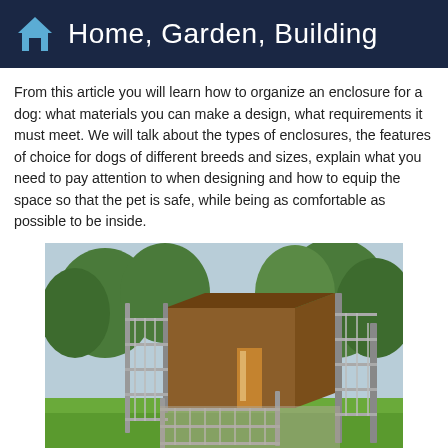Home, Garden, Building
From this article you will learn how to organize an enclosure for a dog: what materials you can make a design, what requirements it must meet. We will talk about the types of enclosures, the features of choice for dogs of different breeds and sizes, explain what you need to pay attention to when designing and how to equip the space so that the pet is safe, while being as comfortable as possible to be inside.
[Figure (photo): Outdoor dog kennel/enclosure with metal grid fencing panels and a wooden shelter structure, set on green grass with trees in background]